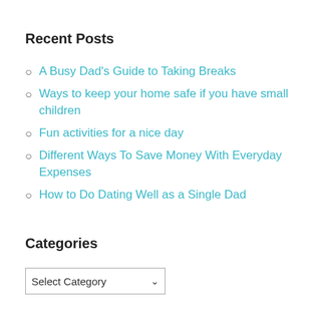Recent Posts
A Busy Dad's Guide to Taking Breaks
Ways to keep your home safe if you have small children
Fun activities for a nice day
Different Ways To Save Money With Everyday Expenses
How to Do Dating Well as a Single Dad
Categories
Select Category